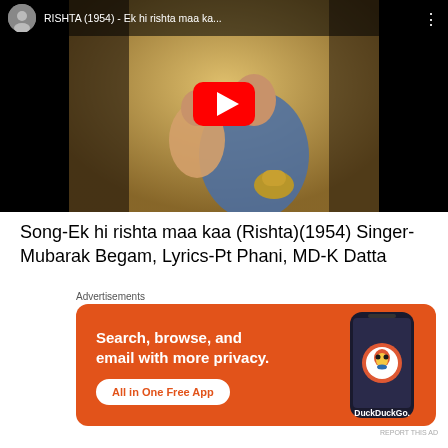[Figure (screenshot): YouTube video thumbnail showing RISHTA (1954) - Ek hi rishta maa ka... with a painting of a mother and child, red YouTube play button overlay, and video title bar at top]
Song-Ek hi rishta maa kaa (Rishta)(1954) Singer-Mubarak Begam, Lyrics-Pt Phani, MD-K Datta
Advertisements
[Figure (screenshot): DuckDuckGo advertisement banner: Search, browse, and email with more privacy. All in One Free App. Shows a phone with DuckDuckGo app. Orange background.]